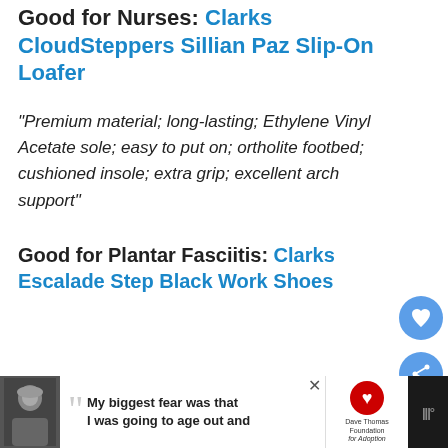Good for Nurses: Clarks CloudSteppers Sillian Paz Slip-On Loafer
“Premium material; long-lasting; Ethylene Vinyl Acetate sole; easy to put on; ortholite footbed; cushioned insole; extra grip; excellent arch support”
Good for Plantar Fasciitis: Clarks Escalade Step Black Work Shoes
[Figure (other): Advertisement banner at bottom: person with beanie hat, text 'My biggest fear was that I was going to age out and', Dave Thomas Foundation for Adoption logo]
[Figure (other): Back-to-top button (blue square with upward chevron), heart/favorite button (blue circle), share button (blue circle with share icon) on right sidebar]